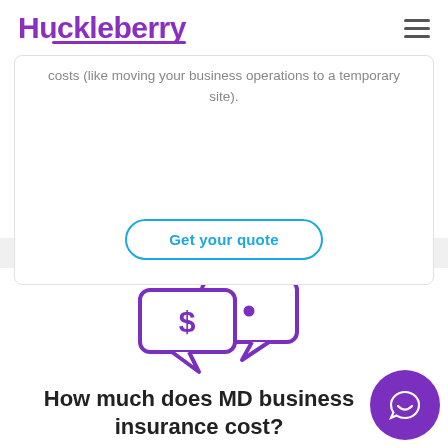Huckleberry
costs (like moving your business operations to a temporary site).
Get your quote
[Figure (illustration): Two speech bubble icons — one with a dollar sign symbol and one with ellipsis dots — rendered in purple gradient, representing cost/pricing discussion.]
How much does MD business insurance cost?